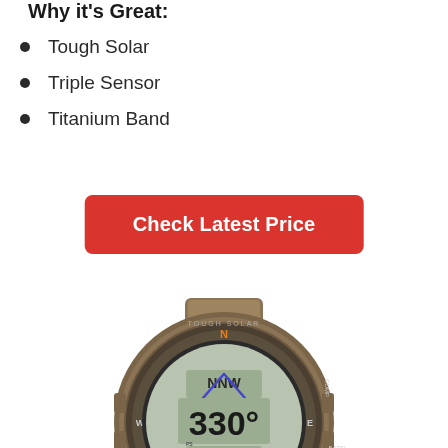Why it's Great:
Tough Solar
Triple Sensor
Titanium Band
Check Latest Price
[Figure (photo): Casio Tough Solar Triple Sensor watch with titanium band showing compass reading NNW 330 degrees and time 10:58 on digital display]